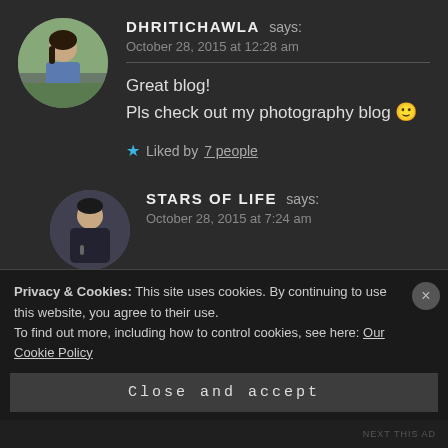[Figure (photo): Circular avatar photo of Dhritichawla, a young woman in a blue top outdoors]
DHRITICHAWLA says:
October 28, 2015 at 12:28 am
Great blog!
Pls check out my photography blog 🙂
Liked by 7 people
[Figure (photo): Circular avatar photo of Stars of Life, a young man in a black hoodie]
STARS OF LIFE says:
October 28, 2015 at 7:24 am
Privacy & Cookies: This site uses cookies. By continuing to use this website, you agree to their use.
To find out more, including how to control cookies, see here: Our Cookie Policy
Close and accept